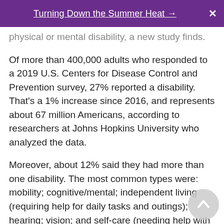Turning Down the Summer Heat →  ✕
physical or mental disability, a new study finds.
Of more than 400,000 adults who responded to a 2019 U.S. Centers for Disease Control and Prevention survey, 27% reported a disability. That's a 1% increase since 2016, and represents about 67 million Americans, according to researchers at Johns Hopkins University who analyzed the data.
Moreover, about 12% said they had more than one disability. The most common types were: mobility; cognitive/mental; independent living (requiring help for daily tasks and outings); hearing; vision; and self-care (needing help with bathing, dressing and other personal care tasks).
To reduce discrimination and create more inclusive communities, "our country must be equipped with data